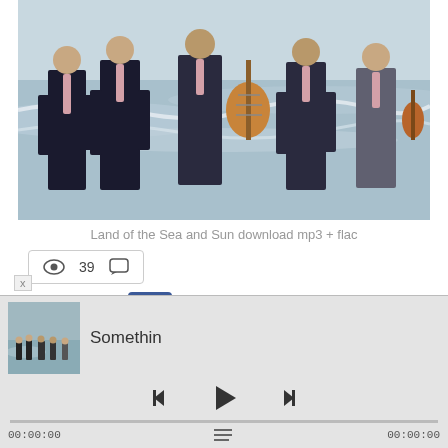[Figure (photo): Five men in dark suits walking on a beach. Some carry musical instruments including a guitar and a violin. Ocean waves visible in the background.]
Land of the Sea and Sun download mp3 + flac
👁 39  💬
< Share  [Facebook]
Artist: The Black Market Trust
[Figure (photo): Small thumbnail of the band on a beach]
Somethin
Player controls: previous, play, next
00:00:00   00:00:00